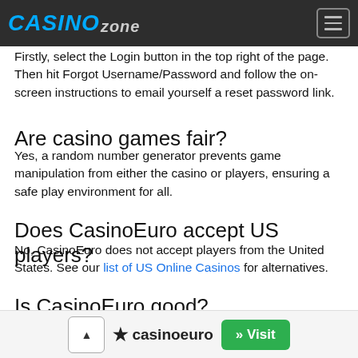CASINO ZONE
Firstly, select the Login button in the top right of the page. Then hit Forgot Username/Password and follow the on-screen instructions to email yourself a reset password link.
Are casino games fair?
Yes, a random number generator prevents game manipulation from either the casino or players, ensuring a safe play environment for all.
Does CasinoEuro accept US players?
No, CasinoEuro does not accept players from the United States. See our list of US Online Casinos for alternatives.
Is CasinoEuro good?
Yes. We have given CasinoEuro a high 84% rating in our review...